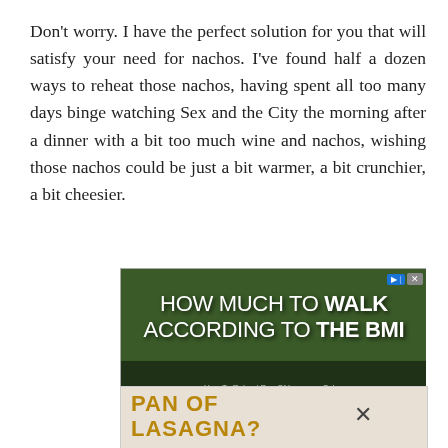Don't worry. I have the perfect solution for you that will satisfy your need for nachos. I've found half a dozen ways to reheat those nachos, having spent all too many days binge watching Sex and the City the morning after a dinner with a bit too much wine and nachos, wishing those nachos could be just a bit warmer, a bit crunchier, a bit cheesier.
[Figure (screenshot): Advertisement banner showing 'HOW MUCH TO WALK ACCORDING TO THE BMI' text over a green leafy background with two people in the lower portion. Has play/close buttons at top right and a media overlay at bottom.]
[Figure (screenshot): Partial advertisement showing 'PAN OF LASAGNA?' text with an X close button, on a brown/tan background.]